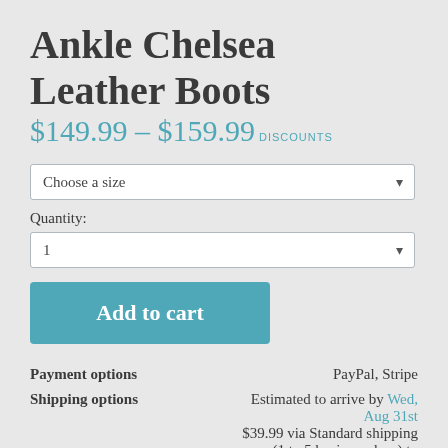Ankle Chelsea Leather Boots
$149.99 – $159.99 DISCOUNTS
Choose a size
Quantity:
1
Add to cart
Payment options    PayPal, Stripe
Shipping options    Estimated to arrive by Wed, Aug 31st $39.99 via Standard shipping (1 to 5 business days) to United States
Other shipping options